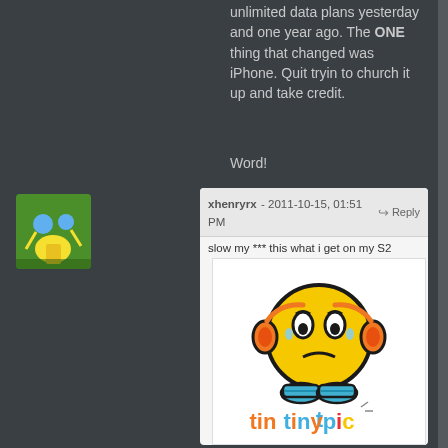unlimited data plans yesterday and one year ago. The ONE thing that changed was iPhone. Quit tryin to church it up and take credit.
Word!
xhenryrx - 2011-10-15, 01:51 PM  Reply
slow my *** this what i get on my S2
[Figure (illustration): TinyPic logo with a sad yellow emoji face wearing orange headphones and blue shoes, with colorful 'tinypic' text below]